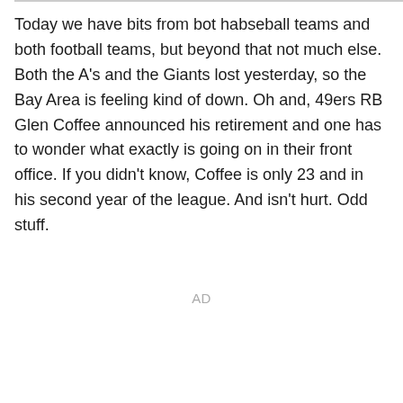Today we have bits from bot habseball teams and both football teams, but beyond that not much else. Both the A's and the Giants lost yesterday, so the Bay Area is feeling kind of down. Oh and, 49ers RB Glen Coffee announced his retirement and one has to wonder what exactly is going on in their front office. If you didn't know, Coffee is only 23 and in his second year of the league. And isn't hurt. Odd stuff.
AD